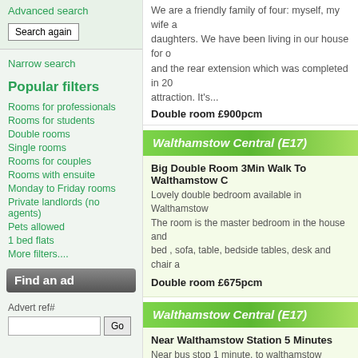We are a friendly family of four: myself, my wife and daughters. We have been living in our house for over and the rear extension which was completed in 20 attraction. It's...
Double room £900pcm
Advanced search
Search again
Narrow search
Popular filters
Rooms for professionals
Rooms for students
Double rooms
Single rooms
Rooms for couples
Rooms with ensuite
Monday to Friday rooms
Private landlords (no agents)
Pets allowed
1 bed flats
More filters....
Find an ad
Advert ref#
Walthamstow Central (E17)
Big Double Room 3Min Walk To Walthamstow C
Lovely double bedroom available in Walthamstow. The room is the master bedroom in the house and bed , sofa, table, bedside tables, desk and chair a
Double room £675pcm
Walthamstow Central (E17)
Near Walthamstow Station 5 Minutes
Near bus stop 1 minute, to walthamstow station 5 3 minutes ,Restaurants, game rooms, banks, fitnes supermarkets are also nearby